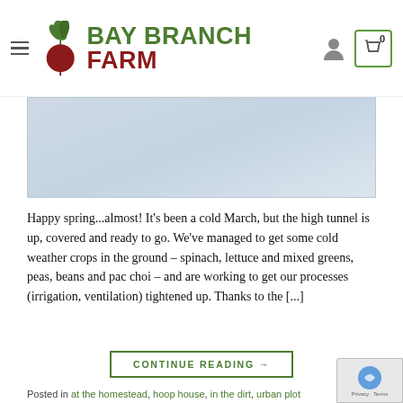BAY BRANCH FARM
[Figure (photo): Light blue/grey hero banner image, appears to show a snowy or overcast outdoor scene]
Happy spring...almost! It's been a cold March, but the high tunnel is up, covered and ready to go. We've managed to get some cold weather crops in the ground – spinach, lettuce and mixed greens, peas, beans and pac choi – and are working to get our processes (irrigation, ventilation) tightened up. Thanks to the [...]
CONTINUE READING →
Posted in at the homestead, hoop house, in the dirt, urban plot